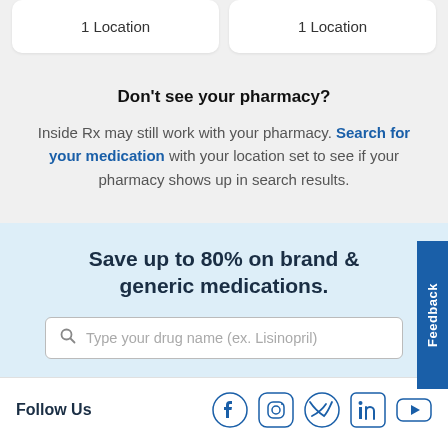1 Location
1 Location
Don’t see your pharmacy?
Inside Rx may still work with your pharmacy. Search for your medication with your location set to see if your pharmacy shows up in search results.
Save up to 80% on brand & generic medications.
Type your drug name (ex. Lisinopril)
Feedback
Follow Us